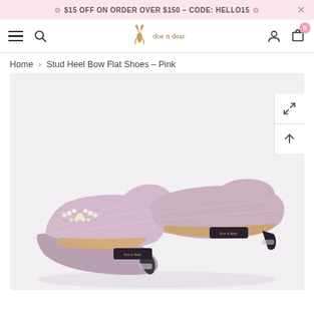✿ $15 OFF ON ORDER OVER $150 – CODE: HELLO15 ✿
[Figure (screenshot): E-commerce navigation bar with hamburger menu, search icon, doe n dear deer logo, person/account icon, and shopping bag icon with 0 badge]
Home > Stud Heel Bow Flat Shoes - Pink
[Figure (photo): Pink glitter Mary Jane flat shoes for children with pearl and rhinestone bow embellishment on toe, ankle strap, and studded low heel. Two shoes displayed side by side on white background.]